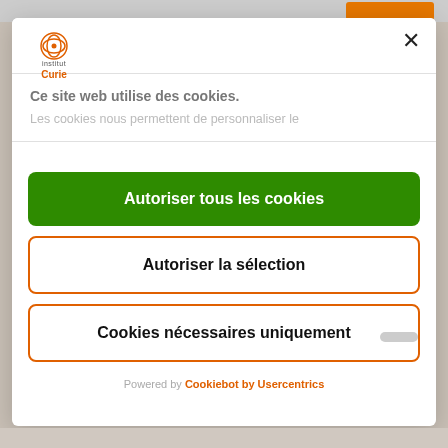[Figure (logo): Institut Curie logo with orange circular icon and text 'institut Curie']
Ce site web utilise des cookies.
Les cookies nous permettent de personnaliser le
Autoriser tous les cookies
Autoriser la sélection
Cookies nécessaires uniquement
Powered by Cookiebot by Usercentrics